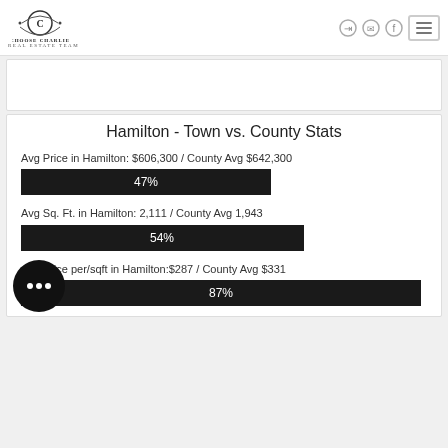[Figure (logo): Choose Charlie Real Estate Team logo with crest emblem]
Avg Price in Hamilton: $606,300 / County Avg $642,300
[Figure (bar-chart): Avg Price comparison]
Avg Sq. Ft. in Hamilton: 2,111 / County Avg 1,943
[Figure (bar-chart): Avg Sq Ft comparison]
Avg Price per/sqft in Hamilton:$287 / County Avg $331
[Figure (bar-chart): Avg Price per sqft comparison]